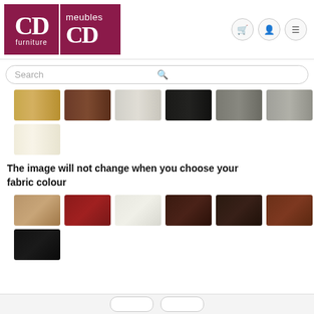[Figure (logo): CD Furniture / Meubles CD logo with maroon background and white text]
[Figure (screenshot): Search bar with placeholder text 'Search']
[Figure (illustration): Wood finish color swatches: gold, walnut, white/grey wood, black, grey, lighter grey, and cream]
The image will not change when you choose your fabric colour
[Figure (illustration): Fabric color swatches: tan/beige, red/burgundy, white/cream fabric, dark brown, very dark brown, mahogany, and black]